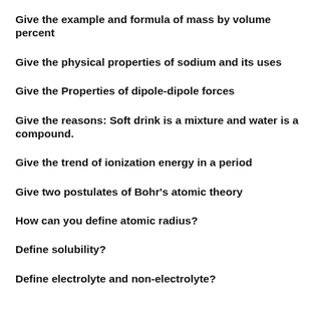Give the example and formula of mass by volume percent
Give the physical properties of sodium and its uses
Give the Properties of dipole-dipole forces
Give the reasons: Soft drink is a mixture and water is a compound.
Give the trend of ionization energy in a period
Give two postulates of Bohr's atomic theory
How can you define atomic radius?
Define solubility?
Define electrolyte and non-electrolyte?